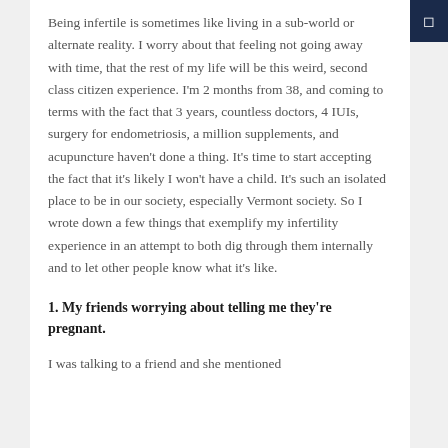Being infertile is sometimes like living in a sub-world or alternate reality. I worry about that feeling not going away with time, that the rest of my life will be this weird, second class citizen experience. I'm 2 months from 38, and coming to terms with the fact that 3 years, countless doctors, 4 IUIs, surgery for endometriosis, a million supplements, and acupuncture haven't done a thing. It's time to start accepting the fact that it's likely I won't have a child. It's such an isolated place to be in our society, especially Vermont society. So I wrote down a few things that exemplify my infertility experience in an attempt to both dig through them internally and to let other people know what it's like.
1. My friends worrying about telling me they're pregnant.
I was talking to a friend and she mentioned